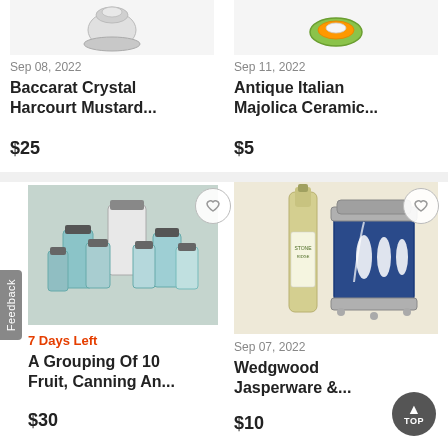[Figure (photo): Baccarat Crystal Harcourt Mustard jar product photo, silver/crystal piece on white background]
Sep 08, 2022
Baccarat Crystal Harcourt Mustard...
$25
[Figure (photo): Antique Italian Majolica Ceramic plate/dish product photo, colorful piece on white background]
Sep 11, 2022
Antique Italian Majolica Ceramic...
$5
[Figure (photo): A grouping of 10 fruit, canning and mason jars in blue and white glass on grey background]
7 Days Left
A Grouping Of 10 Fruit, Canning An...
$30
[Figure (photo): Wedgwood Jasperware biscuit barrel in blue with white classical figures, next to a wine bottle]
Sep 07, 2022
Wedgwood Jasperware &...
$10